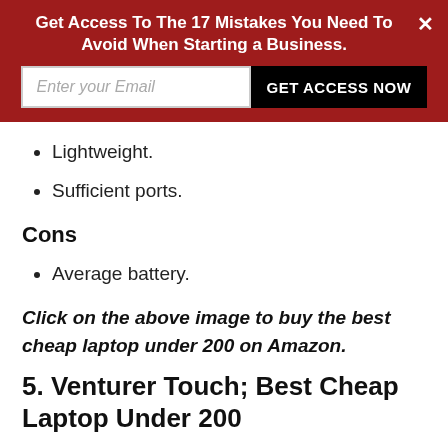[Figure (screenshot): Red banner with email signup form. Title: 'Get Access To The 17 Mistakes You Need To Avoid When Starting a Business.' Input field: 'Enter your Email'. Button: 'GET ACCESS NOW'. Close X button top right.]
Lightweight.
Sufficient ports.
Cons
Average battery.
Click on the above image to buy the best cheap laptop under 200 on Amazon.
5. Venturer Touch; Best Cheap Laptop Under 200